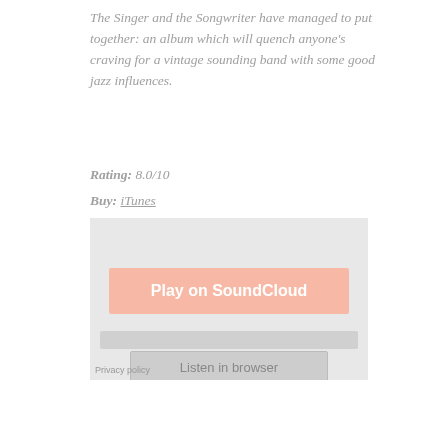The Singer and the Songwriter have managed to put together: an album which will quench anyone's craving for a vintage sounding band with some good jazz influences.
Rating: 8.0/10
Buy: iTunes
[Figure (screenshot): SoundCloud embedded player widget showing 'Play on SoundCloud' button, a progress bar area, a 'Listen in browser' button, and a 'Privacy policy' link at the bottom left.]